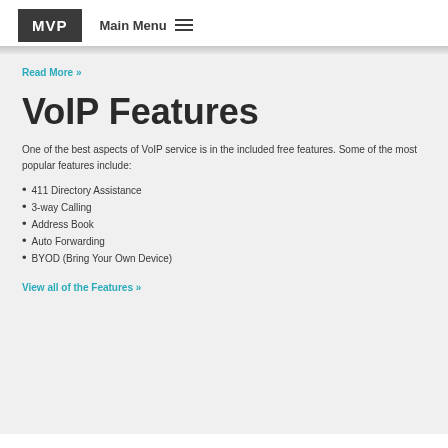MVP  Main Menu
Read More »
VoIP Features
One of the best aspects of VoIP service is in the included free features. Some of the most popular features include:
411 Directory Assistance
3-way Calling
Address Book
Auto Forwarding
BYOD (Bring Your Own Device)
View all of the Features »